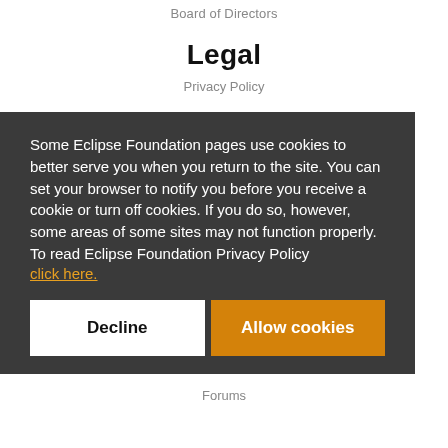Board of Directors
Legal
Privacy Policy
Some Eclipse Foundation pages use cookies to better serve you when you return to the site. You can set your browser to notify you before you receive a cookie or turn off cookies. If you do so, however, some areas of some sites may not function properly. To read Eclipse Foundation Privacy Policy click here.
Decline
Allow cookies
Forums